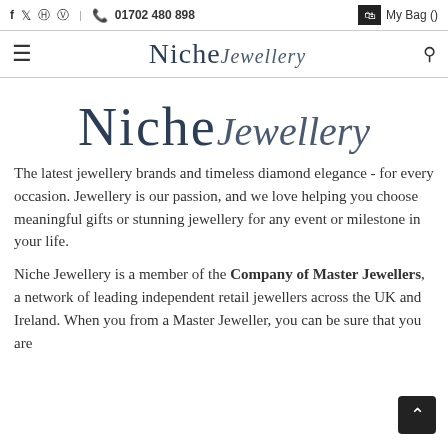f  ✓  Ⓟ  | ☎ 01702 480 898   My Bag ()
[Figure (logo): Niche Jewellery logo in nav bar with hamburger menu and search icon]
[Figure (logo): Large Niche Jewellery logo centered on page]
The latest jewellery brands and timeless diamond elegance - for every occasion. Jewellery is our passion, and we love helping you choose meaningful gifts or stunning jewellery for any event or milestone in your life.
Niche Jewellery is a member of the Company of Master Jewellers, a network of leading independent retail jewellers across the UK and Ireland. When you from a Master Jeweller, you can be sure that you are